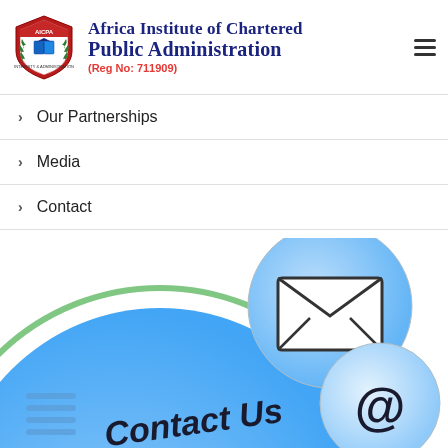[Figure (logo): AICPA shield/crest logo with laurel wreath, book and graduation cap]
Africa Institute of Chartered Public Administration (Reg No: 711909)
Our Partnerships
Media
Contact
[Figure (illustration): Contact Us illustration with blue circles, envelope icon, and @ symbol with 'Contact Us' text]